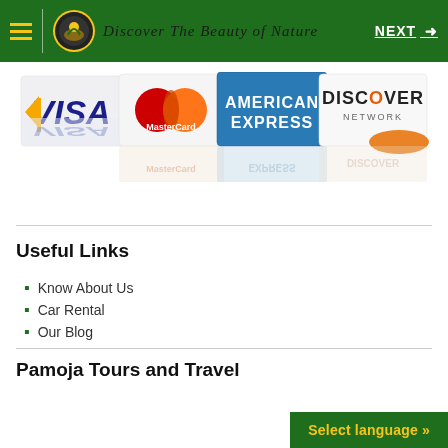Discover The Beauty of Nature | NEXT →
[Figure (illustration): Four credit card logos displayed in a fan arrangement with reflections: Visa (blue/gold), MasterCard (red/orange circles), American Express (blue), Discover Network (white/orange)]
Useful Links
Know About Us
Car Rental
Our Blog
Pamoja Tours and Travel